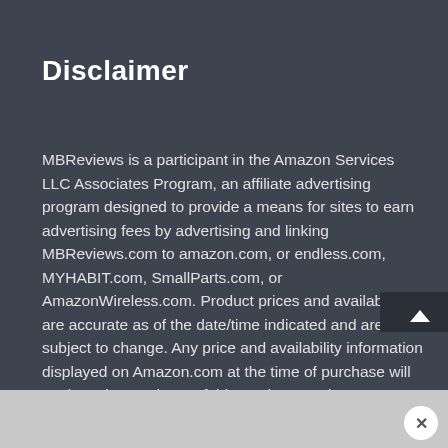Disclaimer
MBReviews is a participant in the Amazon Services LLC Associates Program, an affiliate advertising program designed to provide a means for sites to earn advertising fees by advertising and linking MBReviews.com to amazon.com, or endless.com, MYHABIT.com, SmallParts.com, or AmazonWireless.com. Product prices and availability are accurate as of the date/time indicated and are subject to change. Any price and availability information displayed on Amazon.com at the time of purchase will apply to the purchase of this product. Furthermore, some images on this website can link towards the product`s Amazon page